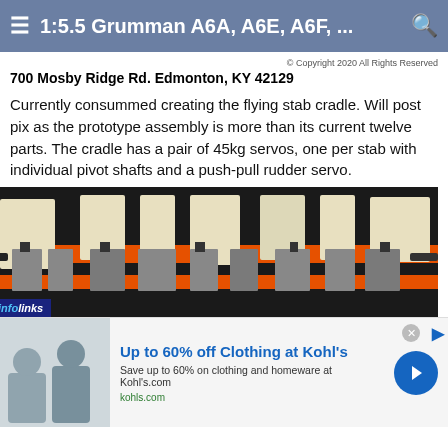1:5.5 Grumman A6A, A6E, A6F, ...
© Copyright 2020 All Rights Reserved
700 Mosby Ridge Rd. Edmonton, KY 42129
Currently consummed creating the flying stab cradle. Will post pix as the prototype assembly is more than its current twelve parts. The cradle has a pair of 45kg servos, one per stab with individual pivot shafts and a push-pull rudder servo.
[Figure (photo): Close-up photo of a flying stab cradle assembly with rectangular black and cream/beige colored servo mount blocks arranged along an orange horizontal rail, with dark cylindrical shafts and mechanical hardware visible.]
Up to 60% off Clothing at Kohl's
Save up to 60% on clothing and homeware at Kohl's.com
kohls.com